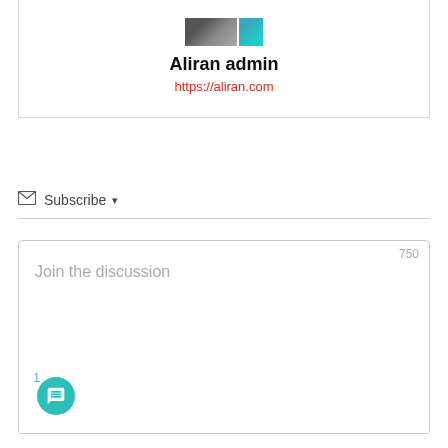[Figure (other): Author profile card with photo thumbnails, bold name 'Aliran admin', and a red URL link https://aliran.com]
Aliran admin
https://aliran.com
Subscribe ▾
750
Join the discussion
1